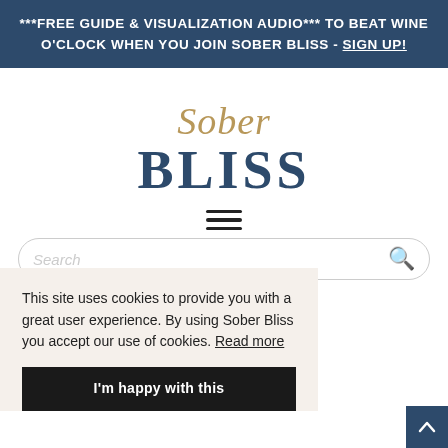***FREE GUIDE & VISUALIZATION AUDIO*** TO BEAT WINE O'CLOCK WHEN YOU JOIN SOBER BLISS - SIGN UP!
[Figure (logo): Sober Bliss logo with cursive 'Sober' in gold and bold 'BLISS' in dark teal serif font]
[Figure (other): Hamburger menu icon — three horizontal lines]
[Figure (other): Search bar with placeholder text 'Search' and magnifying glass icon]
This site uses cookies to provide you with a great user experience. By using Sober Bliss you accept our use of cookies. Read more
I'm happy with this
Book a call to talk about going sober